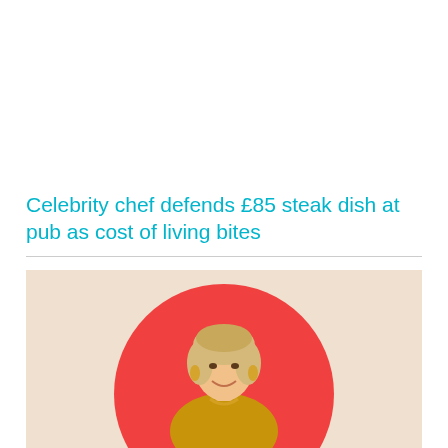Celebrity chef defends £85 steak dish at pub as cost of living bites
[Figure (photo): A smiling blonde woman wearing a gold top and gold bead necklace, photographed against a large red circle on a warm beige background. The image is cropped at the bottom.]